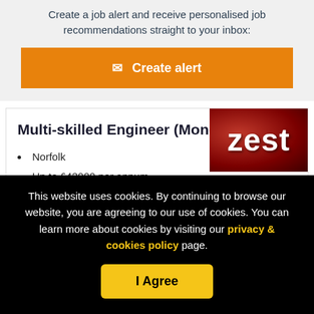Create a job alert and receive personalised job recommendations straight to your inbox:
✉ Create alert
Multi-skilled Engineer (Monday-Friday)
Norfolk
Up to £43000 per annum
[Figure (logo): Zest logo with red berry background and white text reading 'zest']
This website uses cookies. By continuing to browse our website, you are agreeing to our use of cookies. You can learn more about cookies by visiting our privacy & cookies policy page.
I Agree